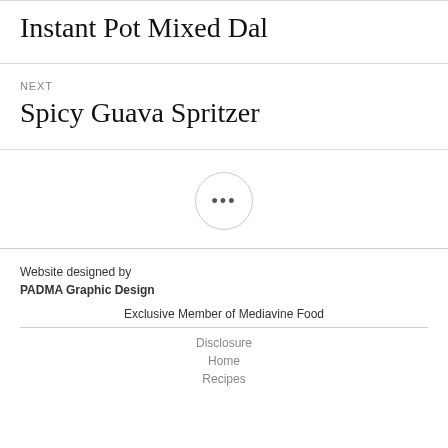Instant Pot Mixed Dal
NEXT
Spicy Guava Spritzer
•••
Website designed by
PADMA Graphic Design
Exclusive Member of Mediavine Food
Disclosure
Home
Recipes